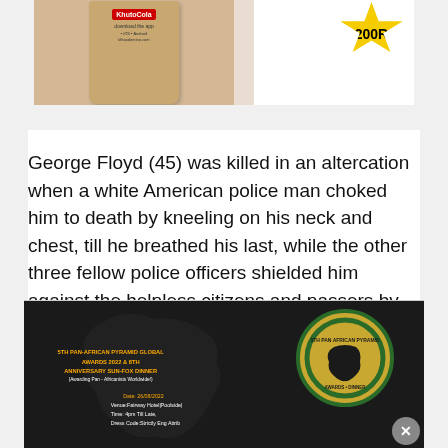[Figure (photo): Top portion showing a brown paper bag with KhutoCola branding and a yellow starburst badge, next to a white background area]
George Floyd (45) was killed in an altercation when a white American police man choked him to death by kneeling on his neck and chest, till he breathed his last, while the other three fellow police officers shielded him against the helpless citizens and passers by who watched the horrifying act.
[Figure (photo): 5th Pan-African Pyramid Global Awards 2022 & 8th Anniversary Sun-Fox Dinner event flyer with Africa map silhouette and gold circular logo. Date: 26/08/2022, Venue: Fairway Hotel Poolside, Time: 4pm Till Late, Dress Code: Strictly Eng Attrib]